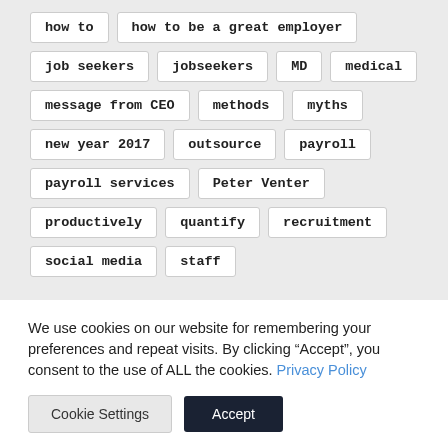how to
how to be a great employer
job seekers
jobseekers
MD
medical
message from CEO
methods
myths
new year 2017
outsource
payroll
payroll services
Peter Venter
productively
quantify
recruitment
social media
staff
We use cookies on our website for remembering your preferences and repeat visits. By clicking “Accept”, you consent to the use of ALL the cookies. Privacy Policy
Cookie Settings
Accept